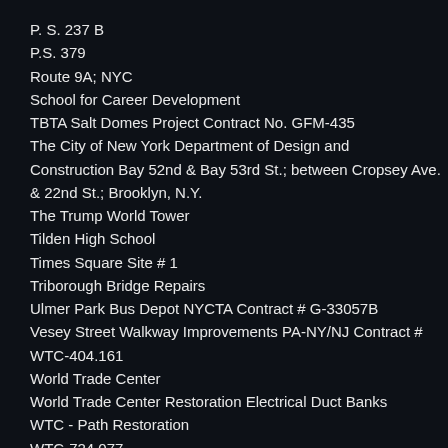P. S. 237 B
P.S. 379
Route 9A; NYC
School for Career Development
TBTA Salt Domes Project Contract No. GFM-435
The City of New York Department of Design and Construction Bay 52nd & Bay 53rd St.; between Cropsey Ave. & 22nd St.; Brooklyn, N.Y.
The Trump World Tower
Tilden High School
Times Square Site # 1
Triborough Bridge Repairs
Ulmer Park Bus Depot NYCTA Contract # G-33057B
Vesey Street Walkway Improvements PA-NY/NJ Contract # WTC-404.161
World Trade Center
World Trade Center Restoration Electrical Duct Banks
WTC - Path Restoration
WTC-724.077